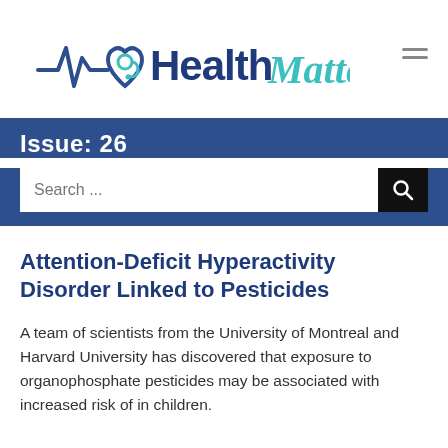[Figure (logo): Health Matters logo with heartbeat line and heart stethoscope icon. 'Health' in dark navy, 'Matters' in teal cursive script.]
Issue: 26
Attention-Deficit Hyperactivity Disorder Linked to Pesticides
A team of scientists from the University of Montreal and Harvard University has discovered that exposure to organophosphate pesticides may be associated with increased risk of in children.